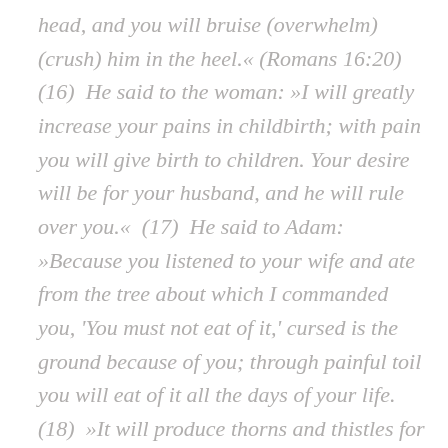head, and you will bruise (overwhelm) (crush) him in the heel.« (Romans 16:20) (16)  He said to the woman: »I will greatly increase your pains in childbirth; with pain you will give birth to children. Your desire will be for your husband, and he will rule over you.«  (17)  He said to Adam: »Because you listened to your wife and ate from the tree about which I commanded you, 'You must not eat of it,' cursed is the ground because of you; through painful toil you will eat of it all the days of your life.  (18)  »It will produce thorns and thistles for you. You will eat the plants of the field.  (19)  »You